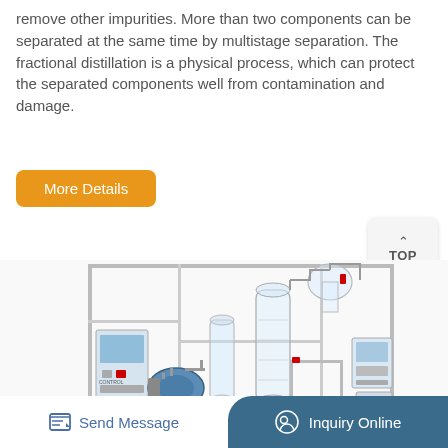remove other impurities. More than two components can be separated at the same time by multistage separation. The fractional distillation is a physical process, which can protect the separated components well from contamination and damage.
More Details
[Figure (photo): Industrial fractional distillation equipment with stainless steel frame, glass columns, vacuum pump, control panel, and various glass vessels and connectors.]
Send Message
Inquiry Online